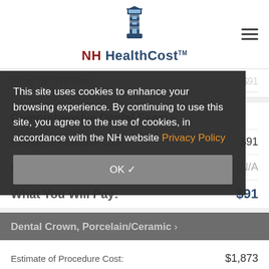[Figure (logo): NH HealthCost lighthouse logo with text]
What You Will Pay: $91
Comprehensive Dental Exam ›
Estimate of Procedure Cost: $91
Insurance Adjustment: N/A
What You Will Pay: $91
This site uses cookies to enhance your browsing experience. By continuing to use this site, you agree to the use of cookies, in accordance with the NH website Privacy Policy
OK ✓
Dental Crown, Porcelain/Ceramic ›
Estimate of Procedure Cost: $1,873